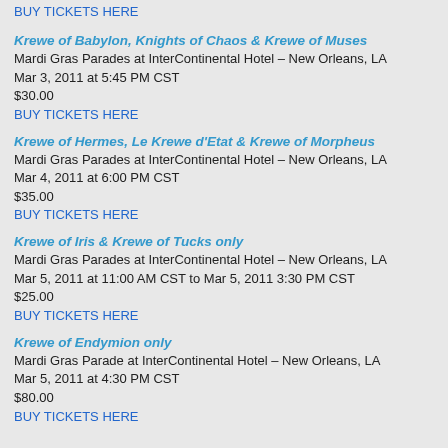BUY TICKETS HERE
Krewe of Babylon, Knights of Chaos & Krewe of Muses
Mardi Gras Parades at InterContinental Hotel – New Orleans, LA
Mar 3, 2011 at 5:45 PM CST
$30.00
BUY TICKETS HERE
Krewe of Hermes, Le Krewe d'Etat & Krewe of Morpheus
Mardi Gras Parades at InterContinental Hotel – New Orleans, LA
Mar 4, 2011 at 6:00 PM CST
$35.00
BUY TICKETS HERE
Krewe of Iris & Krewe of Tucks only
Mardi Gras Parades at InterContinental Hotel – New Orleans, LA
Mar 5, 2011 at 11:00 AM CST to Mar 5, 2011 3:30 PM CST
$25.00
BUY TICKETS HERE
Krewe of Endymion only
Mardi Gras Parade at InterContinental Hotel – New Orleans, LA
Mar 5, 2011 at 4:30 PM CST
$80.00
BUY TICKETS HERE